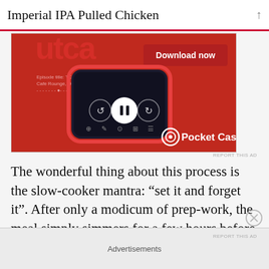Imperial IPA Pulled Chicken
[Figure (screenshot): Pocket Casts app advertisement on red background showing a smartphone with podcast controls. Text reads 'Download now' and 'Pocket Casts'.]
REPORT THIS AD
The wonderful thing about this process is the slow-cooker mantra: “set it and forget it”. After only a modicum of prep-work, the meal simply simmers for a few hours before you can pull the chicken and serve it up.
Advertisements
REPORT THIS AD